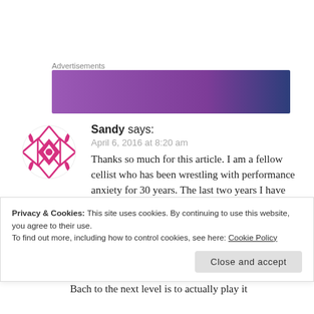Advertisements
[Figure (other): Purple and dark blue advertisement banner with a small white button element visible at the bottom left.]
Sandy says:
April 6, 2016 at 8:20 am
Thanks so much for this article. I am a fellow cellist who has been wrestling with performance anxiety for 30 years. The last two years I have been working on a Bach 6th Suite project called *howmanytimes…
Privacy & Cookies: This site uses cookies. By continuing to use this website, you agree to their use.
To find out more, including how to control cookies, see here: Cookie Policy
Close and accept
Bach to the next level is to actually play it